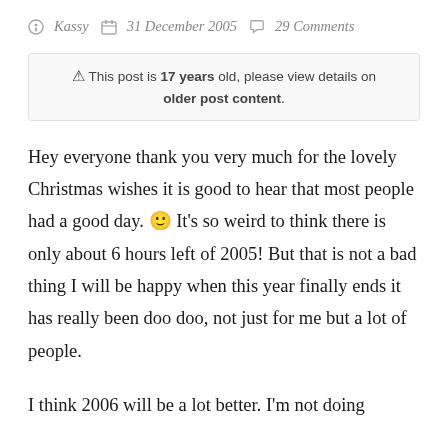Kassy  31 December 2005  29 Comments
⚠ This post is 17 years old, please view details on older post content.
Hey everyone thank you very much for the lovely Christmas wishes it is good to hear that most people had a good day. 🙂 It's so weird to think there is only about 6 hours left of 2005! But that is not a bad thing I will be happy when this year finally ends it has really been doo doo, not just for me but a lot of people.
I think 2006 will be a lot better. I'm not doing